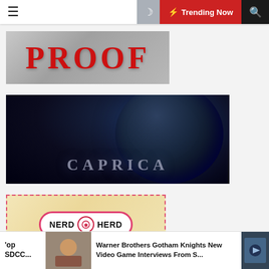☰  🌙  ⚡ Trending Now  🔍
[Figure (photo): Image showing the word PROOF in large red serif letters on a metallic/silver background]
[Figure (photo): Dark cinematic image showing a planet from space with the word CAPRICA in large grey letters below it, on a dark space background]
[Figure (photo): Nerd Herd branding image showing a cylindrical package with pink dashed border and the NERD HERD logo in bold black text with a circular icon]
op SDCC...
[Figure (photo): Thumbnail photo of a group of people]
Warner Brothers Gotham Knights New Video Game Interviews From S...
[Figure (photo): Small thumbnail of video game screenshot]